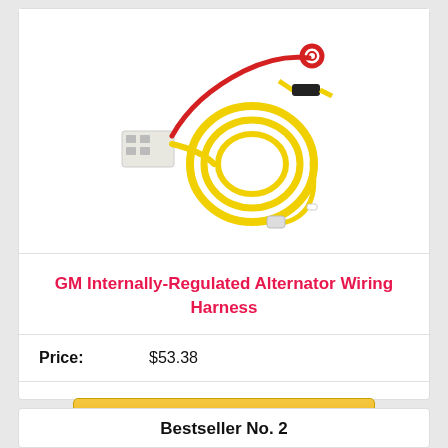[Figure (photo): Product photo of a GM Internally-Regulated Alternator Wiring Harness showing a white plastic connector, a coiled yellow wire, a fuse or resistor component with black shrink wrap, and a red wire with a ring terminal.]
GM Internally-Regulated Alternator Wiring Harness
Price: $53.38
Buy on Amazon
Bestseller No. 2